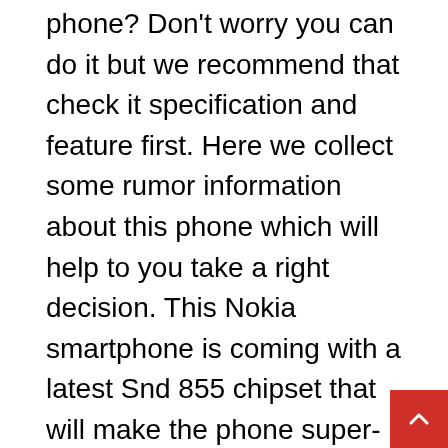phone? Don't worry you can do it but we recommend that check it specification and feature first. Here we collect some rumor information about this phone which will help to you take a right decision. This Nokia smartphone is coming with a latest Snd 855 chipset that will make the phone super-fast. Others many feature and specs has added in this Nokia device and we know you will defiantly love it. So, Let's check what the phone has packed in her specs.
Nokia X Max Pro Release date
There is no official word about this upcoming Nokia flagship phone. that's why, we can't tell you the exact launch date of this Nokia